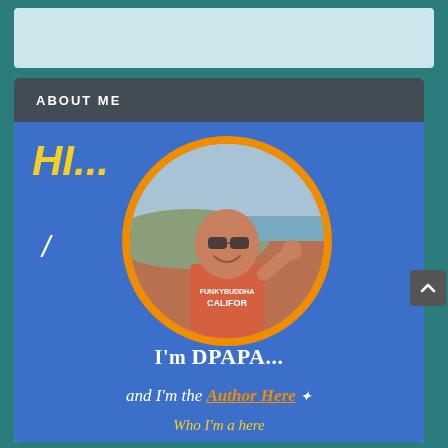[Figure (other): Light blue/teal rectangular banner at top of page]
ABOUT ME
[Figure (photo): About Me widget showing a man smiling with sunglasses in a circular orange-bordered photo frame on a blue background, with text 'HI...', 'I'm DPAPA...' and 'and I'm the Author Here']